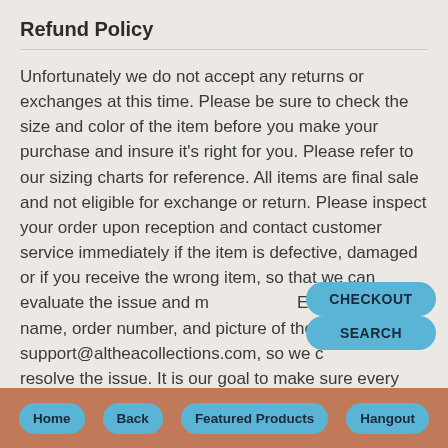Refund Policy
Unfortunately we do not accept any returns or exchanges at this time. Please be sure to check the size and color of the item before you make your purchase and insure it's right for you. Please refer to our sizing charts for reference. All items are final sale and not eligible for exchange or return. Please inspect your order upon reception and contact customer service immediately if the item is defective, damaged or if you receive the wrong item, so that we can evaluate the issue and make it right. Email your name, order number, and picture of the faulty item to support@altheacollections.com, so we can help resolve the issue. It is our goal to make sure every order exceeds your expectations!
Home  Back  Featured Products  Hangout